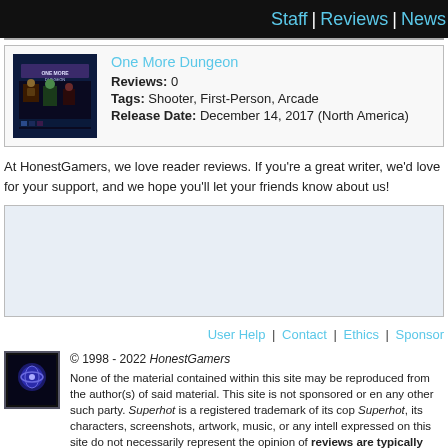Staff | Reviews | News
| One More Dungeon | Reviews: 0 | Tags: Shooter, First-Person, Arcade | Release Date: December 14, 2017 (North America) |
At HonestGamers, we love reader reviews. If you're a great writer, we'd love for your support, and we hope you'll let your friends know about us!
[Figure (other): Advertisement banner placeholder box]
User Help | Contact | Ethics | Sponsor
© 1998 - 2022 HonestGamers None of the material contained within this site may be reproduced from the author(s) of said material. This site is not sponsored or en any other such party. Superhot is a registered trademark of its cop Superhot, its characters, screenshots, artwork, music, or any intell expressed on this site do not necessarily represent the opinion of reviews are typically written based on time spent with a retail provided by its publisher.